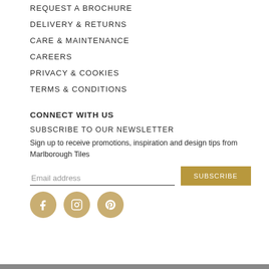REQUEST A BROCHURE
DELIVERY & RETURNS
CARE & MAINTENANCE
CAREERS
PRIVACY & COOKIES
TERMS & CONDITIONS
CONNECT WITH US
SUBSCRIBE TO OUR NEWSLETTER
Sign up to receive promotions, inspiration and design tips from Marlborough Tiles
[Figure (other): Email address input field with SUBSCRIBE button]
[Figure (other): Social media icons: Facebook, Instagram, Pinterest]